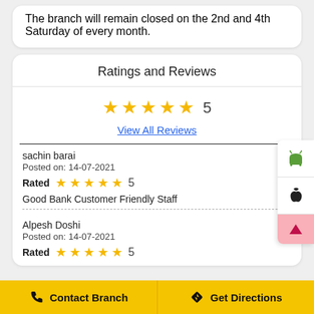The branch will remain closed on the 2nd and 4th Saturday of every month.
Ratings and Reviews
★★★★★ 5
View All Reviews
sachin barai
Posted on: 14-07-2021
Rated ★★★★★ 5
Good Bank Customer Friendly Staff
Alpesh Doshi
Posted on: 14-07-2021
Rated ★★★★★ 5
Contact Branch
Get Directions